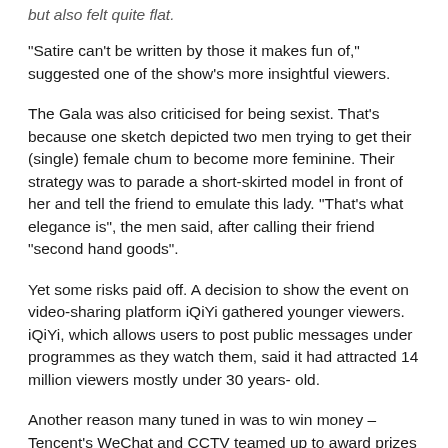but also felt quite flat.
"Satire can't be written by those it makes fun of," suggested one of the show's more insightful viewers.
The Gala was also criticised for being sexist. That's because one sketch depicted two men trying to get their (single) female chum to become more feminine. Their strategy was to parade a short-skirted model in front of her and tell the friend to emulate this lady. "That's what elegance is", the men said, after calling their friend "second hand goods".
Yet some risks paid off. A decision to show the event on video-sharing platform iQiYi gathered younger viewers. iQiYi, which allows users to post public messages under programmes as they watch them, said it had attracted 14 million viewers mostly under 30 years- old.
Another reason many tuned in was to win money – Tencent's WeChat and CCTV teamed up to award prizes worth Rmb500 million ($80 million) to people who shook their phones at key moments. The largest prize was a Rmb1,000...